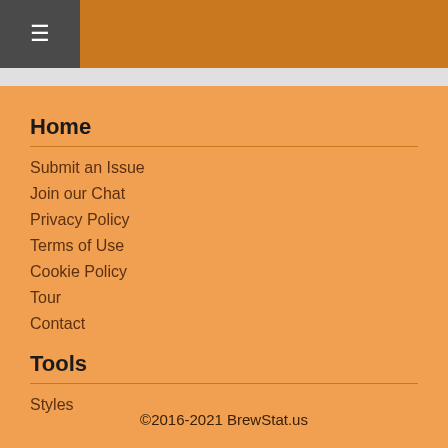≡
Home
Submit an Issue
Join our Chat
Privacy Policy
Terms of Use
Cookie Policy
Tour
Contact
Tools
Styles
©2016-2021 BrewStat.us